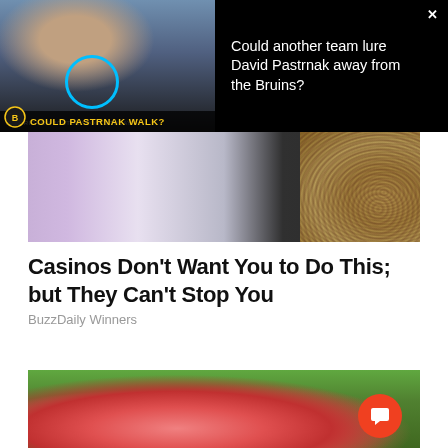[Figure (screenshot): Hockey player thumbnail with 'COULD PASTRNAK WALK?' text overlay and Bruins logo]
Could another team lure David Pastrnak away from the Bruins?
[Figure (photo): Casino scene showing person in white pants and suit, patterned carpet visible]
Casinos Don't Want You to Do This; but They Can't Stop You
BuzzDaily Winners
[Figure (photo): Hand holding red spiky fruit against green leafy background]